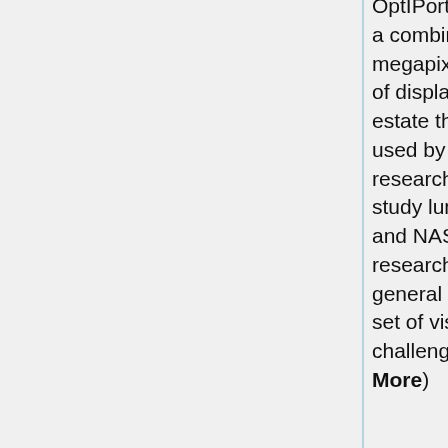[Figure (photo): Photograph showing HIPerSpace display wall in a dark room, partially visible at top right of page]
HIPerSpace
OptIPortal delivers a combined 36 megapixels worth of display real-estate that will be used by NASA LSI researchers to study lunar data and NASA researchers in general for a broad set of visualization challenges. (Read More)